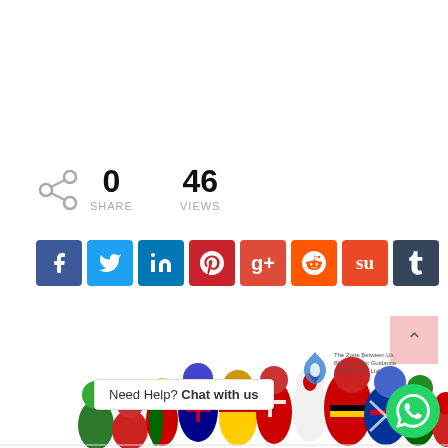[Figure (infographic): Share icon with 0 shares and 46 views counter]
0
SHARE
46
VIEWS
[Figure (infographic): Row of social media share buttons: Facebook, Twitter, LinkedIn, Pinterest, Google+, Reddit, StumbleUpon, Tumblr]
[Figure (illustration): Group of illustrated people with country flag heads/bodies representing international diversity]
Need Help? Chat with us
[Figure (logo): WhatsApp chat button (green circle with phone icon) and company logo with text 'The Zone Between Us, Bharat Direct Guidance Services Pvt. Ltd., Certified Company']